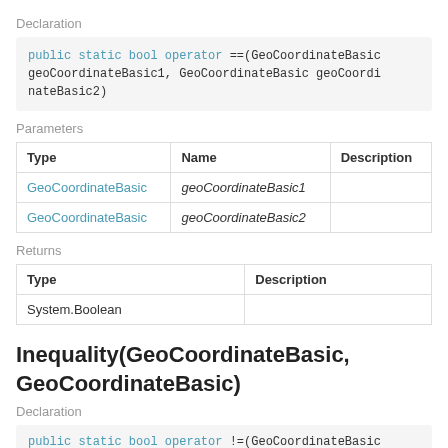Declaration
public static bool operator ==(GeoCoordinateBasic geoCoordinateBasic1, GeoCoordinateBasic geoCoordinateBasic2)
Parameters
| Type | Name | Description |
| --- | --- | --- |
| GeoCoordinateBasic | geoCoordinateBasic1 |  |
| GeoCoordinateBasic | geoCoordinateBasic2 |  |
Returns
| Type | Description |
| --- | --- |
| System.Boolean |  |
Inequality(GeoCoordinateBasic, GeoCoordinateBasic)
Declaration
public static bool operator !=(GeoCoordinateBasic...